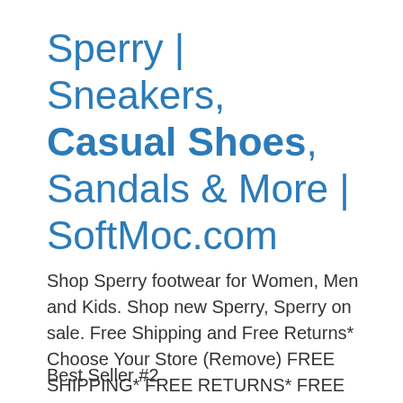Sperry | Sneakers, Casual Shoes, Sandals & More | SoftMoc.com
Shop Sperry footwear for Women, Men and Kids. Shop new Sperry, Sperry on sale. Free Shipping and Free Returns* Choose Your Store (Remove) FREE SHIPPING* FREE RETURNS* FREE IN-STORE PICKUP ... Sneakers Sandals Casual Boots Rain Boots Athletics Casual Shoes Clogs Winter ...
Best Seller #2